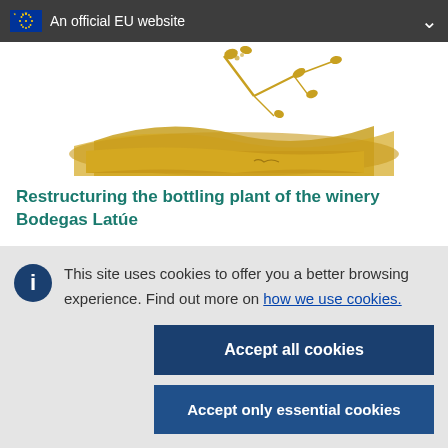An official EU website
[Figure (illustration): Decorative illustration of grapevine branches and golden hills, typical of a winery/EU agricultural website logo]
Restructuring the bottling plant of the winery Bodegas Latúe
This site uses cookies to offer you a better browsing experience. Find out more on how we use cookies.
Accept all cookies
Accept only essential cookies